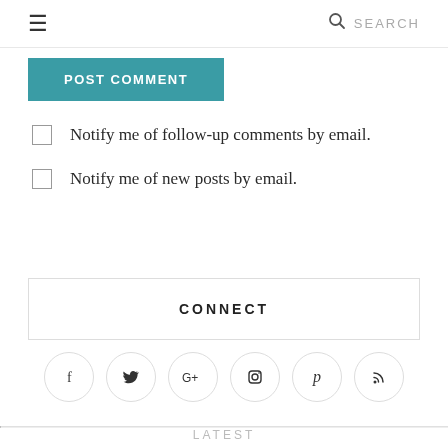☰  SEARCH
POST COMMENT
Notify me of follow-up comments by email.
Notify me of new posts by email.
CONNECT
[Figure (infographic): Row of 6 social media icon circles: Facebook (f), Twitter (bird), Google+ (G+), Instagram (camera), Pinterest (P), RSS (wifi/rss symbol)]
LATEST